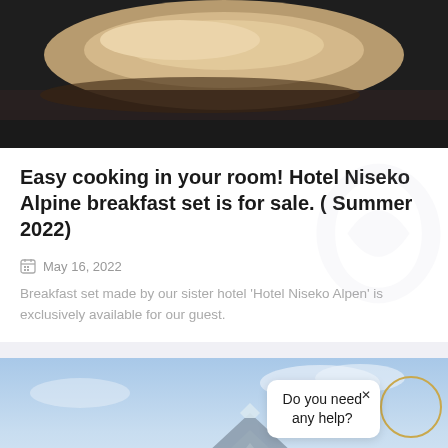[Figure (photo): Close-up photo of food (appears to be pancakes or bread on a dark plate/background), partially cropped at top of page]
Easy cooking in your room! Hotel Niseko Alpine breakfast set is for sale. ( Summer 2022)
May 16, 2022
Breakfast set made by our sister hotel 'Hotel Niseko Alpen' is exclusively available for our guest.
[Figure (photo): Landscape photo of a mountain (appears to be Mt. Yotei or similar in Niseko area) with blue sky and clouds; a chat widget overlay reads 'Do you need any help?' with a close button and circular icon]